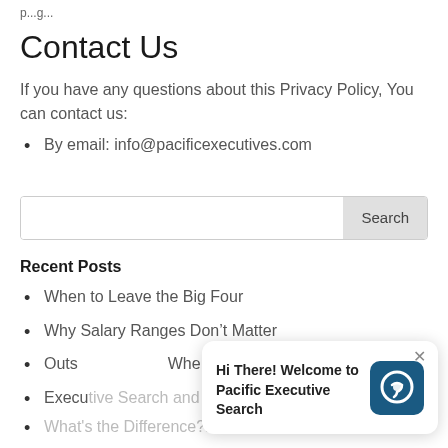Contact Us
If you have any questions about this Privacy Policy, You can contact us:
By email: info@pacificexecutives.com
Recent Posts
When to Leave the Big Four
Why Salary Ranges Don’t Matter
Outs... Whe...
Executive Search and Staffing Firms